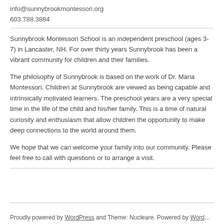info@sunnybrookmontessori.org
603.788.3884
Sunnybrook Montessori School is an independent preschool (ages 3-7) in Lancaster, NH. For over thirty years Sunnybrook has been a vibrant community for children and their families.
The philosophy of Sunnybrook is based on the work of Dr. Maria Montessori. Children at Sunnybrook are viewed as being capable and intrinsically motivated learners. The preschool years are a very special time in the life of the child and his/her family. This is a time of natural curiosity and enthusiasm that allow children the opportunity to make deep connections to the world around them.
We hope that we can welcome your family into our community. Please feel free to call with questions or to arrange a visit.
Proudly powered by WordPress and Theme: Nucleare. Powered by WordPress.